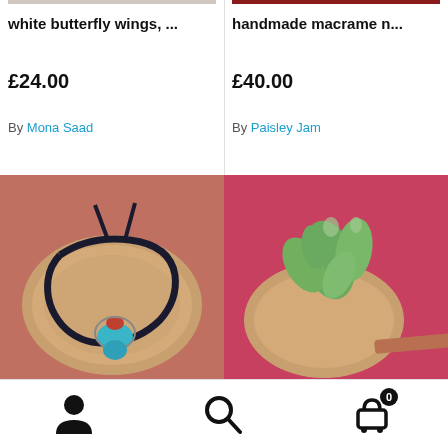white butterfly wings, ...
£24.00
By Mona Saad
handmade macrame n...
£40.00
By Paisley Jam
[Figure (photo): Macrame bracelet with turquoise and coral pendant on a wooden slice, placed on a red surface]
[Figure (photo): Succulent plant in a wooden slice pot on a red surface]
[Figure (other): Footer navigation bar with user icon, search icon, and shopping cart icon with badge showing 0]